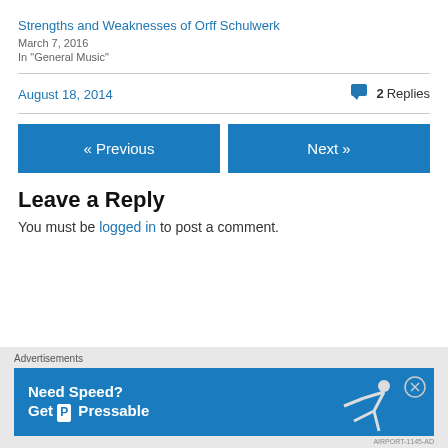Strengths and Weaknesses of Orff Schulwerk
March 7, 2016
In "General Music"
August 18, 2014
2 Replies
« Previous
Next »
Leave a Reply
You must be logged in to post a comment.
Advertisements
[Figure (screenshot): Advertisement banner: 'Need Speed? Get Pressable' on blue background with figure of person running/sliding]